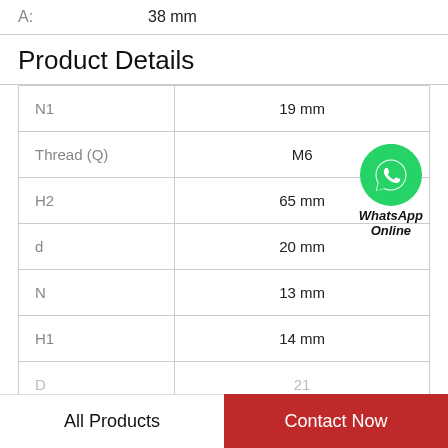A:    38 mm
Product Details
| Parameter | Value |
| --- | --- |
| N1 | 19 mm |
| Thread (Q) | M6 |
| H2 | 65 mm |
| d | 20 mm |
| N | 13 mm |
| H1 | 14 mm |
| D | 21... |
[Figure (logo): WhatsApp green phone icon with text 'WhatsApp Online']
All Products
Contact Now